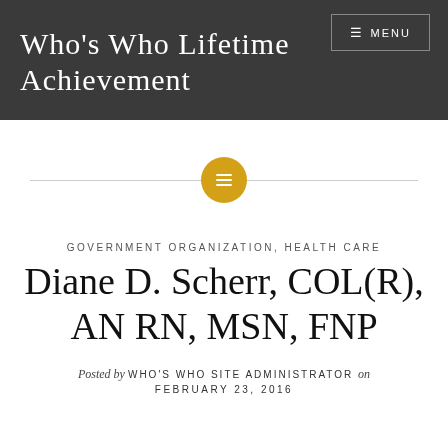Who's Who Lifetime Achievement
[Figure (other): Yellow circle divider icon with horizontal lines, flanked by a gray horizontal rule]
GOVERNMENT ORGANIZATION, HEALTH CARE
Diane D. Scherr, COL(R), AN RN, MSN, FNP
Posted by WHO'S WHO SITE ADMINISTRATOR on FEBRUARY 23, 2016